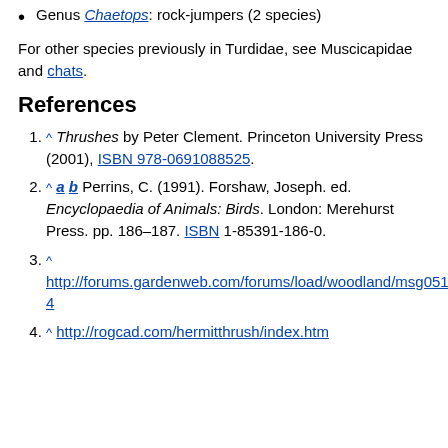Genus Chaetops: rock-jumpers (2 species)
For other species previously in Turdidae, see Muscicapidae and chats.
References
^ Thrushes by Peter Clement. Princeton University Press (2001), ISBN 978-0691088525.
^ a b Perrins, C. (1991). Forshaw, Joseph. ed. Encyclopaedia of Animals: Birds. London: Merehurst Press. pp. 186–187. ISBN 1-85391-186-0.
^ http://forums.gardenweb.com/forums/load/woodland/msg051859363...
^ http://rogcad.com/hermitthrush/index.htm